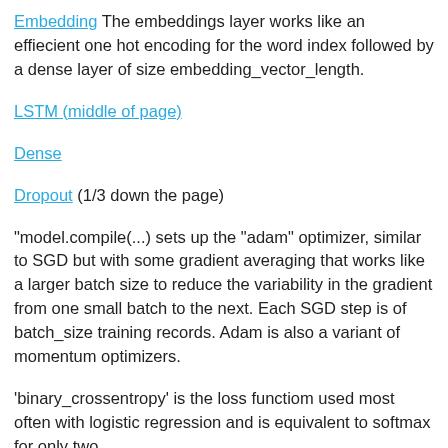Embedding The embeddings layer works like an effiecient one hot encoding for the word index followed by a dense layer of size embedding_vector_length.
LSTM (middle of page)
Dense
Dropout (1/3 down the page)
"model.compile(...) sets up the "adam" optimizer, similar to SGD but with some gradient averaging that works like a larger batch size to reduce the variability in the gradient from one small batch to the next. Each SGD step is of batch_size training records. Adam is also a variant of momentum optimizers.
'binary_crossentropy' is the loss functiom used most often with logistic regression and is equivalent to softmax for only two